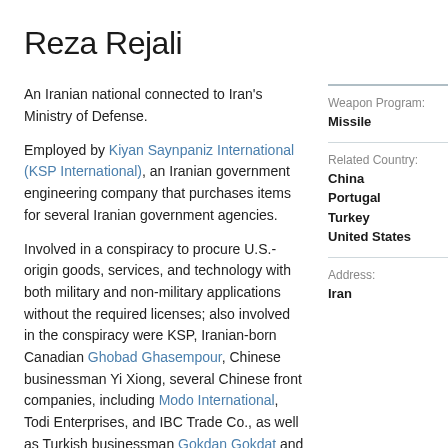Reza Rejali
An Iranian national connected to Iran's Ministry of Defense.
Employed by Kiyan Saynpaniz International (KSP International), an Iranian government engineering company that purchases items for several Iranian government agencies.
Weapon Program: Missile
Related Country: China, Portugal, Turkey, United States
Address: Iran
Involved in a conspiracy to procure U.S.-origin goods, services, and technology with both military and non-military applications without the required licenses; also involved in the conspiracy were KSP, Iranian-born Canadian Ghobad Ghasempour, Chinese businessman Yi Xiong, several Chinese front companies, including Modo International, Todi Enterprises, and IBC Trade Co., as well as Turkish businessman Gokdan Gokdat and his company,